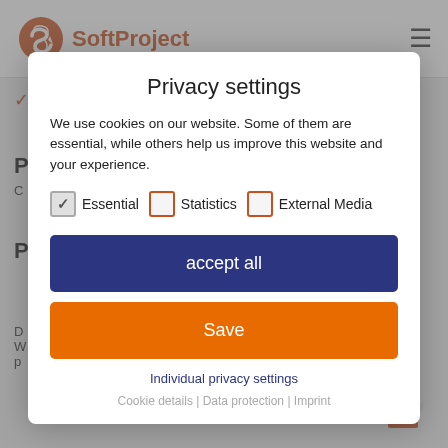SoftProject
Transformations: Contains transformation file for the processes.
Privacy settings
We use cookies on our website. Some of them are essential, while others help us improve this website and your experience.
Essential   Statistics   External Media
accept all
Save
Individual privacy settings
Cookie details | Data protection | Imprint